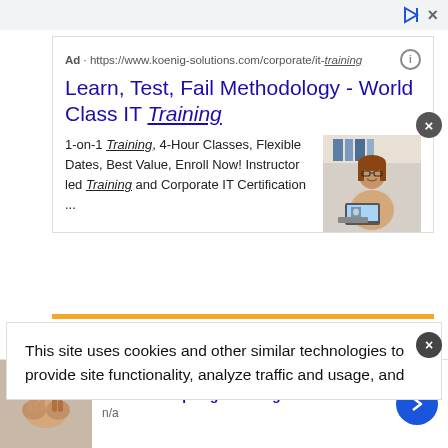[Figure (screenshot): Top browser/ad bar with skip and close icons]
Ad · https://www.koenig-solutions.com/corporate/it-training
Learn, Test, Fail Methodology - World Class IT Training
1-on-1 Training, 4-Hour Classes, Flexible Dates, Best Value, Enroll Now! Instructor led Training and Corporate IT Certification ...
[Figure (photo): Woman with glasses sitting at desk with laptop, smiling, in office environment]
This site uses cookies and other similar technologies to provide site functionality, analyze traffic and usage, and
What is Relapsing-remitting MS? a
n/a